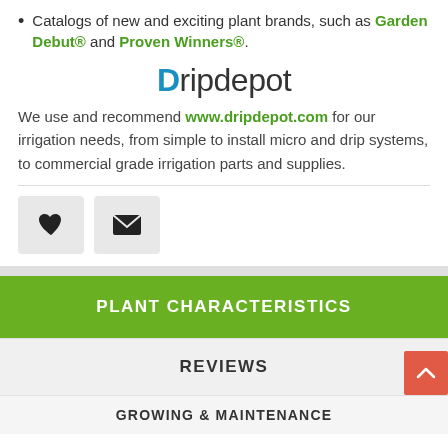Catalogs of new and exciting plant brands, such as Garden Debut® and Proven Winners®.
[Figure (logo): Dripdepot logo with blue capital D and dark gray text 'ripdepot']
We use and recommend www.dripdepot.com for our irrigation needs, from simple to install micro and drip systems, to commercial grade irrigation parts and supplies.
[Figure (infographic): Two icon buttons: a heart icon and an envelope/mail icon, both on light gray rounded rectangle buttons]
PLANT CHARACTERISTICS
REVIEWS
GROWING & MAINTENANCE